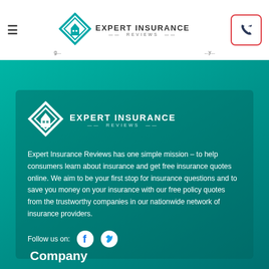Expert Insurance Reviews
[Figure (logo): Expert Insurance Reviews logo with diamond/house icon and text]
Expert Insurance Reviews has one simple mission – to help consumers learn about insurance and get free insurance quotes online. We aim to be your first stop for insurance questions and to save you money on your insurance with our free policy quotes from the trustworthy companies in our nationwide network of insurance providers.
Follow us on:
Company